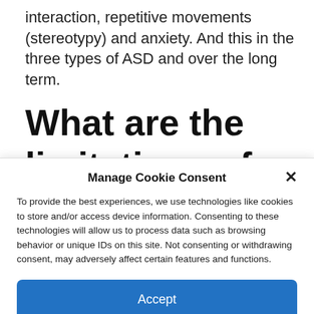interaction, repetitive movements (stereotypy) and anxiety. And this in the three types of ASD and over the long term.
What are the limitations of the
Manage Cookie Consent
To provide the best experiences, we use technologies like cookies to store and/or access device information. Consenting to these technologies will allow us to process data such as browsing behavior or unique IDs on this site. Not consenting or withdrawing consent, may adversely affect certain features and functions.
Accept
Cookie Policy